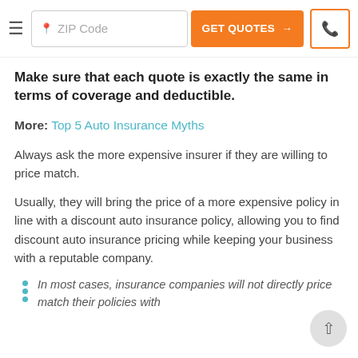ZIP Code | GET QUOTES → | [phone icon]
Make sure that each quote is exactly the same in terms of coverage and deductible.
More: Top 5 Auto Insurance Myths
Always ask the more expensive insurer if they are willing to price match.
Usually, they will bring the price of a more expensive policy in line with a discount auto insurance policy, allowing you to find discount auto insurance pricing while keeping your business with a reputable company.
In most cases, insurance companies will not directly price match their policies with